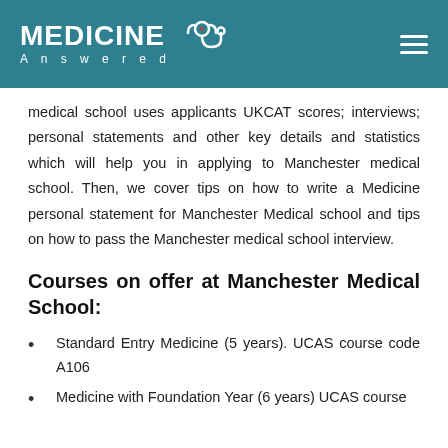Medicine Answered
medical school uses applicants UKCAT scores; interviews; personal statements and other key details and statistics which will help you in applying to Manchester medical school. Then, we cover tips on how to write a Medicine personal statement for Manchester Medical school and tips on how to pass the Manchester medical school interview.
Courses on offer at Manchester Medical School:
Standard Entry Medicine (5 years). UCAS course code A106
Medicine with Foundation Year (6 years) UCAS course